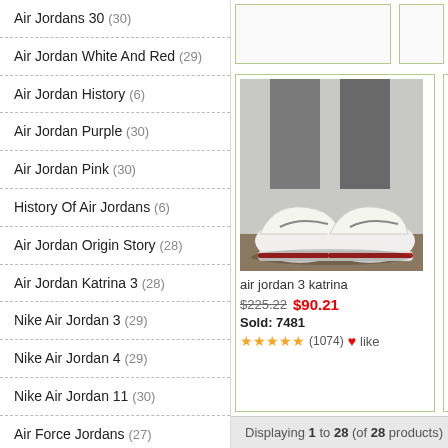Air Jordans 30 (30)
Air Jordan White And Red (29)
Air Jordan History (6)
Air Jordan Purple (30)
Air Jordan Pink (30)
History Of Air Jordans (6)
Air Jordan Origin Story (28)
Air Jordan Katrina 3 (28)
Nike Air Jordan 3 (29)
Nike Air Jordan 4 (29)
Nike Air Jordan 11 (30)
Air Force Jordans (27)
Air Jordan 1 All White (30)
Air Jordan 1 Black And Gold (29)
Air Jordan 1 Flyknit (28)
[Figure (photo): Photo of Air Jordan 3 Katrina sneakers being worn, white with red accents, viewed from behind at ground level]
air jordan 3 katrina
$225.22  $90.21  Sold: 7481  ★★★★★(1074)  ♥like
air jo...  $226...  Sold...  ★★★
Displaying 1 to 28 (of 28 products)